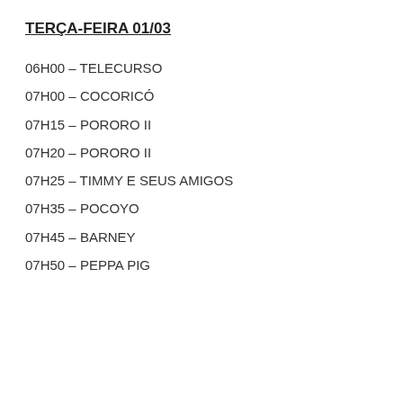TERÇA-FEIRA 01/03
06H00 – TELECURSO
07H00 – COCORICÓ
07H15 – PORORO II
07H20 – PORORO II
07H25 – TIMMY E SEUS AMIGOS
07H35 – POCOYO
07H45 – BARNEY
07H50 – PEPPA PIG